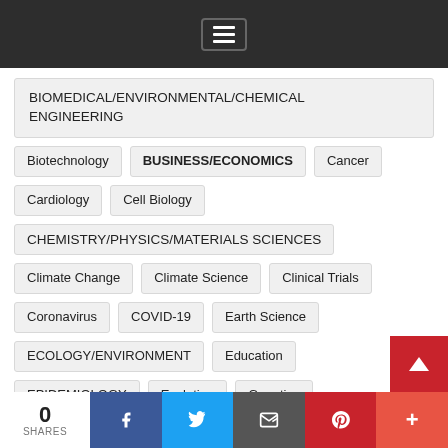Menu
BIOMEDICAL/ENVIRONMENTAL/CHEMICAL ENGINEERING
Biotechnology
BUSINESS/ECONOMICS
Cancer
Cardiology
Cell Biology
CHEMISTRY/PHYSICS/MATERIALS SCIENCES
Climate Change
Climate Science
Clinical Trials
Coronavirus
COVID-19
Earth Science
ECOLOGY/ENVIRONMENT
Education
EPIDEMIOLOGY
Evolution
Genetics
HEALTH CARE SYSTEMS/SERVICES
0 SHARES | Facebook | Twitter | Email | Pinterest | More